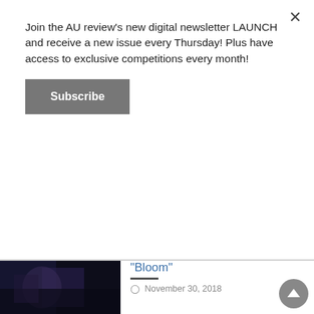Join the AU review's new digital newsletter LAUNCH and receive a new issue every Thursday! Plus have access to exclusive competitions every month!
Subscribe
"Bloom"
November 30, 2018
We recently caught up with Sam Bentley from The Paper Kites to chat about their recently announced 2019 Australian tour and their appearance as part of the Twilight at Taronga series. Also on the agenda was their new releases from this year: On The Train Ride Home and On The Corner Where You Live.  2018 has been an incredible year for [...]